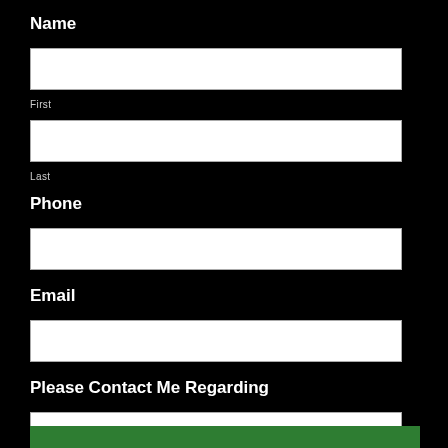Name
[Figure (other): Text input field for First name]
First
[Figure (other): Text input field for Last name]
Last
Phone
[Figure (other): Text input field for Phone]
Email
[Figure (other): Text input field for Email]
Please Contact Me Regarding
[Figure (other): Text input field for contact reason]
[Figure (other): Green button bar at the bottom]